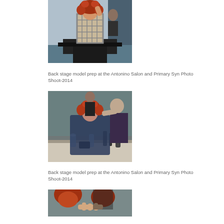[Figure (photo): Backstage photo of a model with red curly hair wearing a checkered top, posing in a studio setting. A person is visible in the background.]
Back stage model prep at the Antonino Salon and Primary Syn Photo Shoot-2014
[Figure (photo): Backstage photo showing a hairstylist working on a model with red curly hair, who is wearing a dark salon cape. Styling tools and bottles are visible on the table.]
Back stage model prep at the Antonino Salon and Primary Syn Photo Shoot-2014
[Figure (photo): Partial backstage photo showing people with red hair in a salon/studio setting.]